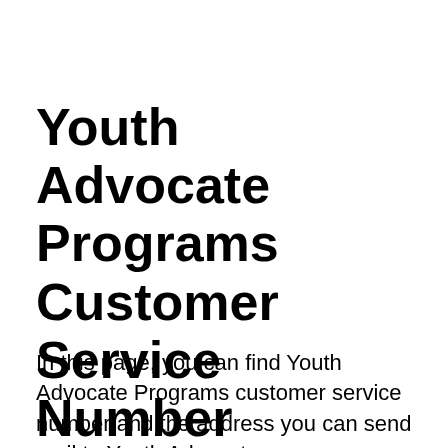Youth Advocate Programs Customer Service Number
In this page, you can find Youth Advocate Programs customer service number and the address you can send mail to Youth Advocate